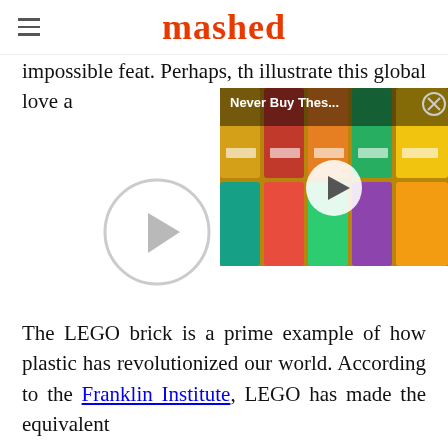mashed
impossible feat. Perhaps, th... illustrate this global love a...
[Figure (screenshot): Video overlay showing canned goods with title 'Never Buy Thes...' and a play button, plus a close button in top right corner]
[Figure (other): Large circular play button in the center of the page over a white/light background]
The LEGO brick is a prime example of how plastic has revolutionized our world. According to the Franklin Institute, LEGO has made the equivalent